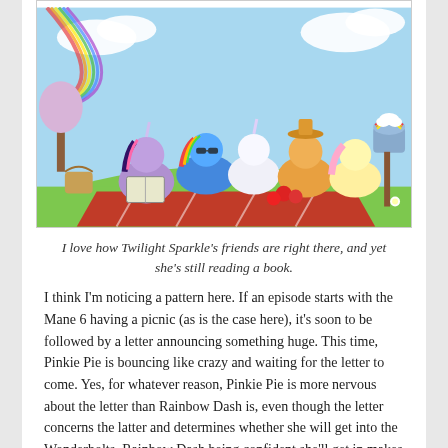[Figure (illustration): My Little Pony cartoon scene showing Twilight Sparkle reading a book at a picnic with Rainbow Dash, Rarity, Applejack, Fluttershy and others on a colorful blanket outdoors. A mailbox with a rainbow cloud is visible on the right.]
I love how Twilight Sparkle's friends are right there, and yet she's still reading a book.
I think I'm noticing a pattern here. If an episode starts with the Mane 6 having a picnic (as is the case here), it's soon to be followed by a letter announcing something huge. This time, Pinkie Pie is bouncing like crazy and waiting for the letter to come. Yes, for whatever reason, Pinkie Pie is more nervous about the letter than Rainbow Dash is, even though the letter concerns the latter and determines whether she will get into the Wonderbolts. Rainbow Dash being confident she'll get in makes total sense, but Pinkie Pie's nervousness is harder to decipher. Perhaps this is an indication that she cares about her